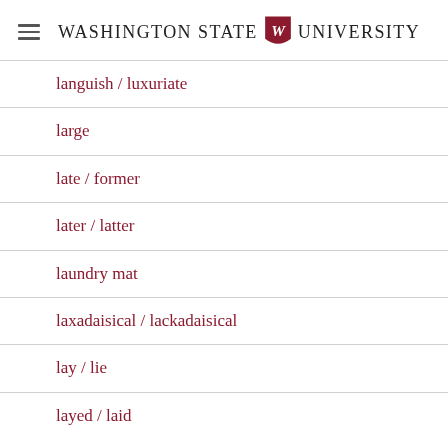Washington State University
languish / luxuriate
large
late / former
later / latter
laundry mat
laxadaisical / lackadaisical
lay / lie
layed / laid